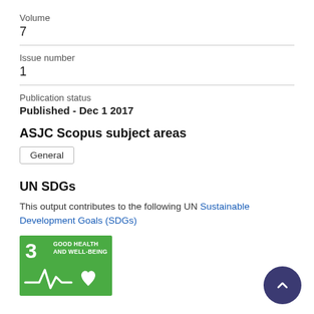Volume
7
Issue number
1
Publication status
Published - Dec 1 2017
ASJC Scopus subject areas
General
UN SDGs
This output contributes to the following UN Sustainable Development Goals (SDGs)
[Figure (logo): UN SDG 3 badge: Good Health and Well-Being, green background with number 3 and ECG/heart icon]